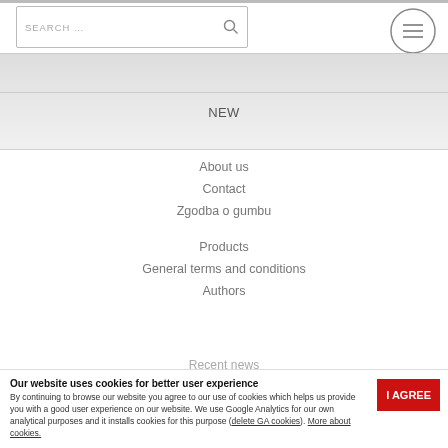[Figure (screenshot): Search bar with magnifying glass icon and hamburger menu icon (three horizontal lines in a circle)]
NEW
About us
Contact
Zgodba o gumbu
Products
General terms and conditions
Authors
Recent news
Our website uses cookies for better user experience
By continuing to browse our website you agree to our use of cookies which helps us provide you with a good user experience on our website. We use Google Analytics for our own analytical purposes and it installs cookies for this purpose (delete GA cookies). More about cookies.